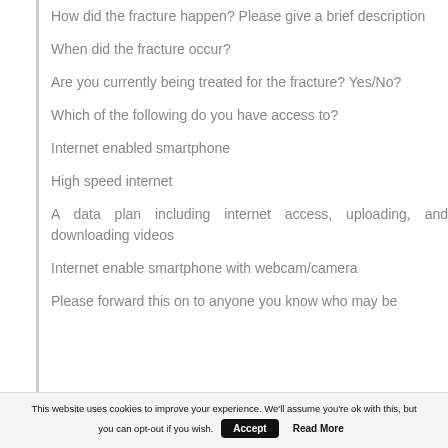How did the fracture happen? Please give a brief description
When did the fracture occur?
Are you currently being treated for the fracture? Yes/No?
Which of the following do you have access to?
Internet enabled smartphone
High speed internet
A data plan including internet access, uploading, and downloading videos
Internet enable smartphone with webcam/camera
Please forward this on to anyone you know who may be
This website uses cookies to improve your experience. We'll assume you're ok with this, but you can opt-out if you wish. Accept Read More